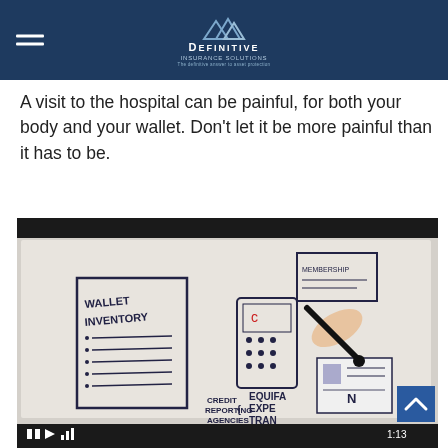Definitive Insurance Solutions
A visit to the hospital can be painful, for both your body and your wallet. Don't let it be more painful than it has to be.
[Figure (screenshot): Video player showing a tablet with a hand holding a stylus drawing a wallet inventory chart with labels: WALLET INVENTORY, CREDIT REPORTING AGENCIES, EQUIFA, EXPE, TRAN, MEMBERSHIP. A blue scroll-to-top button is visible in the bottom right corner. Video duration shown as 1:13.]